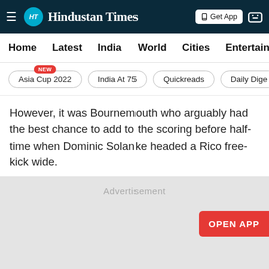Hindustan Times
Home  Latest  India  World  Cities  Entertainment
Asia Cup 2022  NEW
India At 75
Quickreads
Daily Dige
However, it was Bournemouth who arguably had the best chance to add to the scoring before half-time when Dominic Solanke headed a Rico free-kick wide.
[Figure (other): Advertisement placeholder box with 'Advertisement' label and 'OPEN APP' red button on right side]